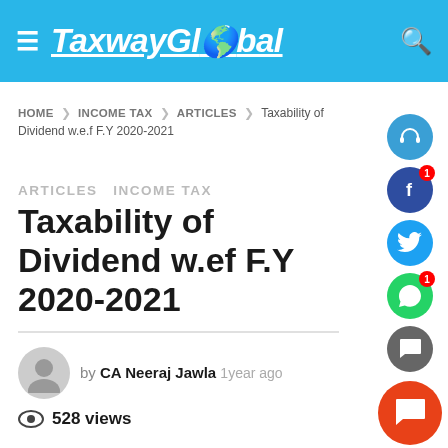TaxwayGlobal
HOME > INCOME TAX > ARTICLES > Taxability of Dividend w.e.f F.Y 2020-2021
ARTICLES  INCOME TAX
Taxability of Dividend w.ef F.Y 2020-2021
by CA Neeraj Jawla  1year ago
528 views